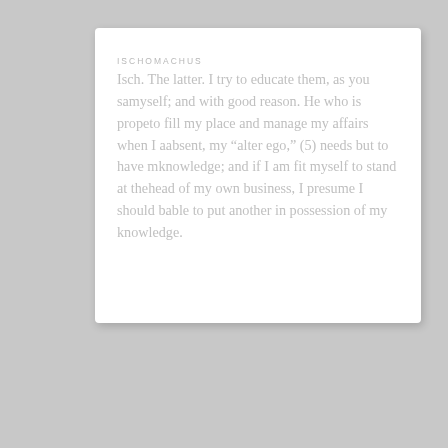ISCHOMACHUS
Isch. The latter. I try to educate them, as you say, myself; and with good reason. He who is properly trained to fill my place and manage my affairs when I am absent, my “alter ego,” (5) needs but to have my knowledge; and if I am fit myself to stand at the head of my own business, I presume I should be able to put another in possession of my knowledge.